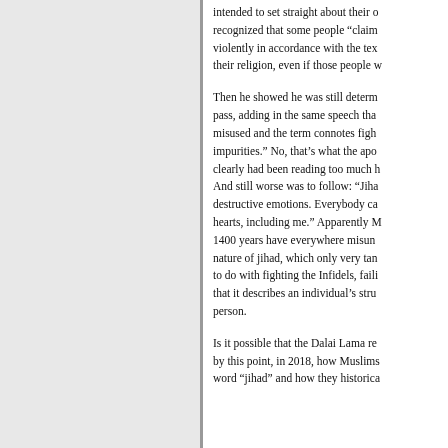intended to set straight about their own religion. He recognized that some people "claim" to act violently in accordance with the texts and norms of their religion, even if those people w...
Then he showed he was still determined to let this pass, adding in the same speech that jihad is misused and the term connotes fighting internal impurities." No, that's what the apo... clearly had been reading too much h... And still worse was to follow: "Jiha... destructive emotions. Everybody ca... hearts, including me." Apparently M... 1400 years have everywhere misund... nature of jihad, which only very tan... to do with fighting the Infidels, faili... that it describes an individual's stru... person.
Is it possible that the Dalai Lama re... by this point, in 2018, how Muslims... word "jihad" and how they historica...